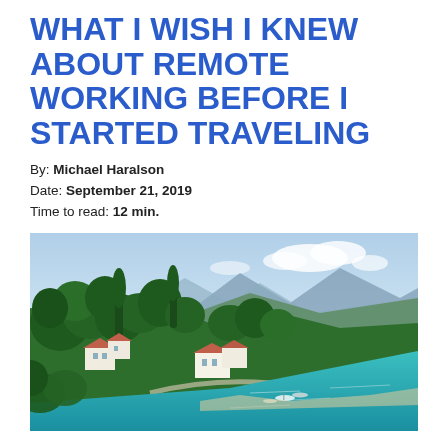WHAT I WISH I KNEW ABOUT REMOTE WORKING BEFORE I STARTED TRAVELING
By: Michael Haralson
Date: September 21, 2019
Time to read: 12 min.
[Figure (photo): Coastal Mediterranean scene with lush green trees covering a hillside, white buildings with terracotta roofs, a turquoise bay with small boats, and mountains in the background under a partly cloudy sky.]